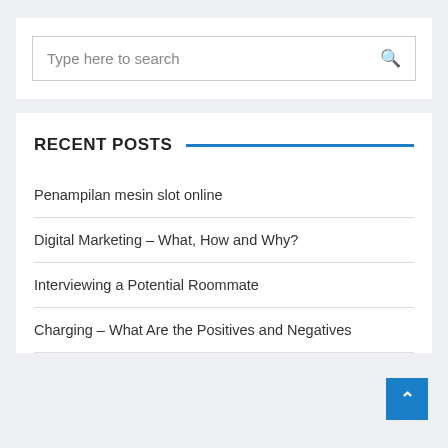[Figure (screenshot): Search input box with placeholder text 'Type here to search' and a magnifying glass icon on the right]
RECENT POSTS
Penampilan mesin slot online
Digital Marketing – What, How and Why?
Interviewing a Potential Roommate
Charging – What Are the Positives and Negatives